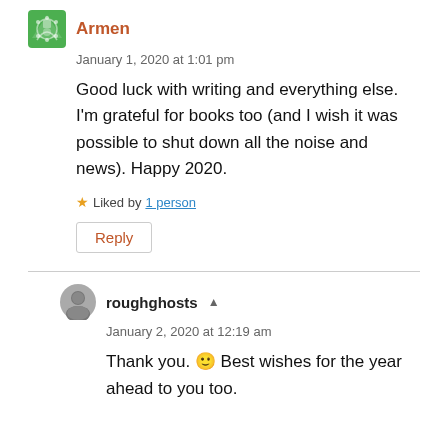Armen
January 1, 2020 at 1:01 pm
Good luck with writing and everything else. I'm grateful for books too (and I wish it was possible to shut down all the noise and news). Happy 2020.
Liked by 1 person
Reply
roughghosts
January 2, 2020 at 12:19 am
Thank you. 🙂 Best wishes for the year ahead to you too.